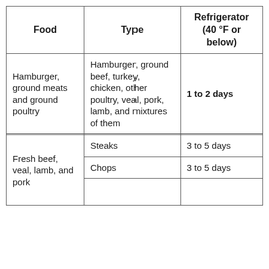| Food | Type | Refrigerator (40 °F or below) |
| --- | --- | --- |
| Hamburger, ground meats and ground poultry | Hamburger, ground beef, turkey, chicken, other poultry, veal, pork, lamb, and mixtures of them | 1 to 2 days |
| Fresh beef, veal, lamb, and pork | Steaks | 3 to 5 days |
| Fresh beef, veal, lamb, and pork | Chops | 3 to 5 days |